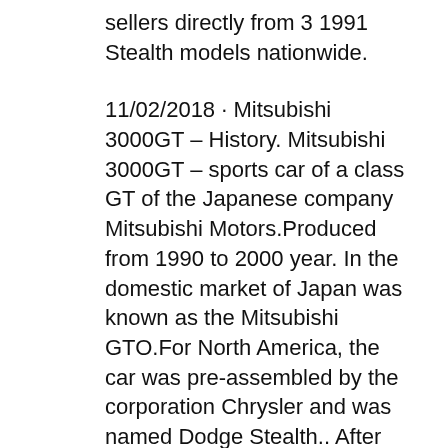sellers directly from 3 1991 Stealth models nationwide.
11/02/2018 · Mitsubishi 3000GT – History. Mitsubishi 3000GT – sports car of a class GT of the Japanese company Mitsubishi Motors.Produced from 1990 to 2000 year. In the domestic market of Japan was known as the Mitsubishi GTO.For North America, the car was pre-assembled by the corporation Chrysler and was named Dodge Stealth.. After successfully showing the Mitsubishi HSR … 1991 Dodge Dakota Owners Manual Pdf - Get Your 1991 Dodge Dakota Owners Manual Pdf Here in Dodge-Owners-Manual.Com; How essential is owner manual? Studying and